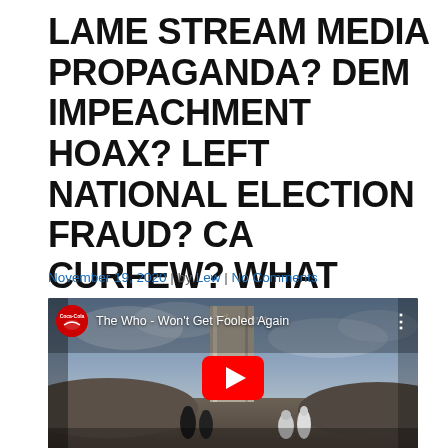LAME STREAM MEDIA PROPAGANDA? DEM IMPEACHMENT HOAX? LEFT NATIONAL ELECTION FRAUD? CA CURFEW? WHAT NEXT?
November 19, 2020 | by Lew | No Comments
[Figure (screenshot): YouTube video embed showing 'The Who - Won't Get Fooled Again' with a Coca-Cola branded channel avatar, dark moody album art showing figures standing near a tall concrete structure in a desert landscape, with a red YouTube play button in the center.]